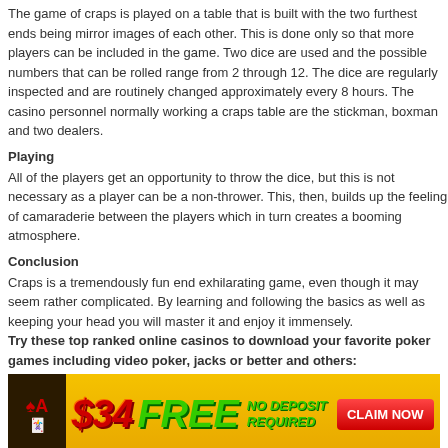The game of craps is played on a table that is built with the two furthest ends being mirror images of each other. This is done only so that more players can be included in the game. Two dice are used and the possible numbers that can be rolled range from 2 through 12. The dice are regularly inspected and are routinely changed approximately every 8 hours. The casino personnel normally working a craps table are the stickman, boxman and two dealers.
Playing
All of the players get an opportunity to throw the dice, but this is not necessary as a player can be a non-thrower. This, then, builds up the feeling of camaraderie between the players which in turn creates a booming atmosphere.
Conclusion
Craps is a tremendously fun end exhilarating game, even though it may seem rather complicated. By learning and following the basics as well as keeping your head you will master it and enjoy it immensely. Try these top ranked online casinos to download your favorite poker games including video poker, jacks or better and others:
[Figure (infographic): Casino advertisement banner: $34 FREE NO DEPOSIT REQUIRED CLAIM NOW on a yellow/gold background with casino imagery]
Online Casino
Casino Games, Craps   craps